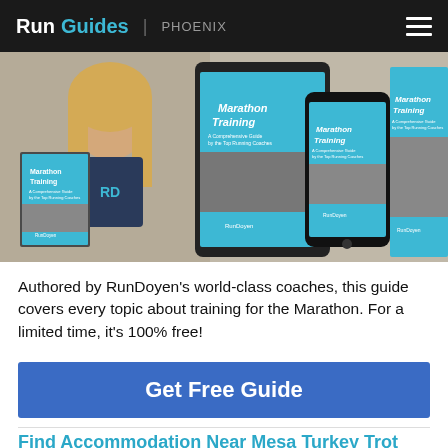RunGuides | PHOENIX
[Figure (photo): Woman holding Marathon Training book, with tablet, phone, and another book showing Marathon Training guide covers by RunDoyen]
Authored by RunDoyen's world-class coaches, this guide covers every topic about training for the Marathon. For a limited time, it's 100% free!
Get Free Guide
Find Accommodation Near Mesa Turkey Trot